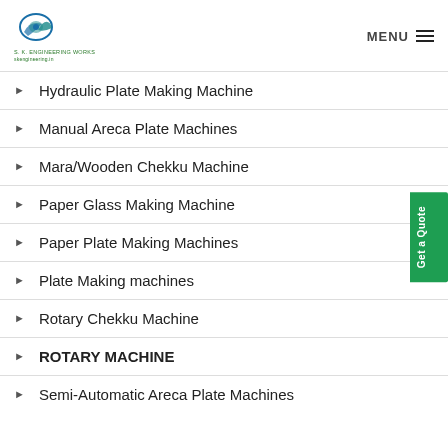MENU
Hydraulic Plate Making Machine
Manual Areca Plate Machines
Mara/Wooden Chekku Machine
Paper Glass Making Machine
Paper Plate Making Machines
Plate Making machines
Rotary Chekku Machine
ROTARY MACHINE
Semi-Automatic Areca Plate Machines